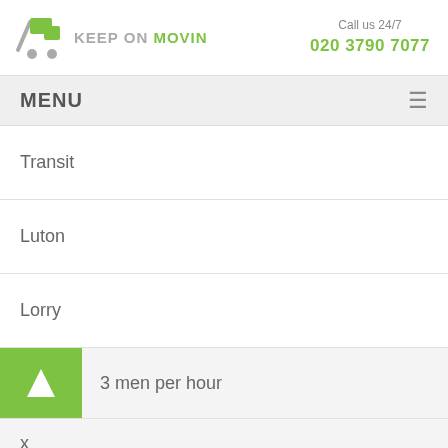[Figure (logo): Keep On Movin logo with shopping cart icon and text]
Call us 24/7
020 3790 7077
MENU
Transit
Luton
Lorry
3 men per hour
x